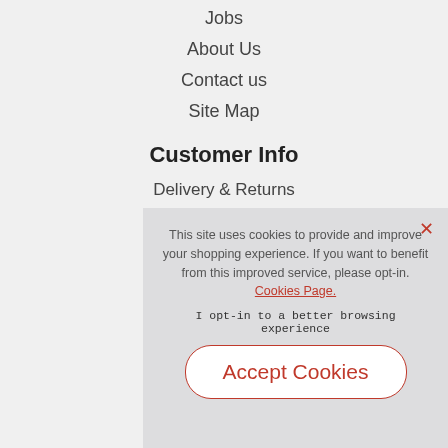Jobs
About Us
Contact us
Site Map
Customer Info
Delivery & Returns
This site uses cookies to provide and improve your shopping experience. If you want to benefit from this improved service, please opt-in. Cookies Page.
I opt-in to a better browsing experience
Accept Cookies